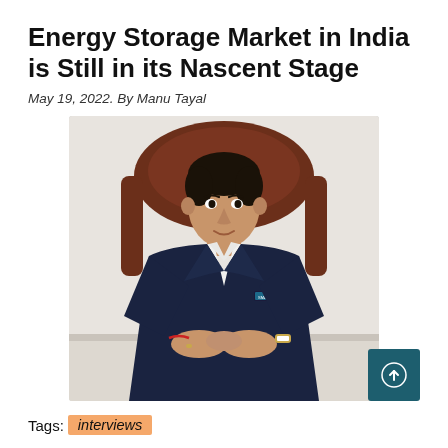Energy Storage Market in India is Still in its Nascent Stage
May 19, 2022. By Manu Tayal
[Figure (photo): Portrait photo of a man in a dark navy suit with white shirt, sitting at a desk with hands folded, in front of a brown leather chair. He has a company badge on his lapel.]
Tags: interviews